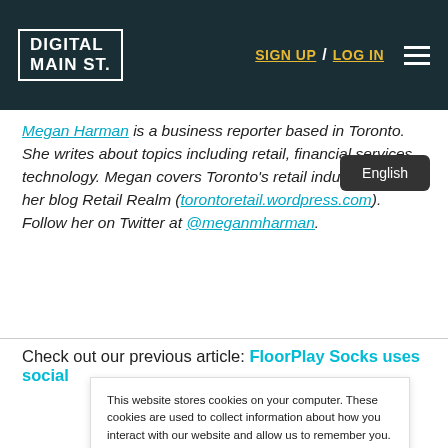DIGITAL MAIN ST. | SIGN UP / LOG IN
Megan Harman is a business reporter based in Toronto. She writes about topics including retail, financial services, technology. Megan covers Toronto's retail industry through her blog Retail Realm (torontoretail.wordpress.com). Follow her on Twitter at @meganmharman.
Check out our previous article: FloorPlay Socks uses social
This website stores cookies on your computer. These cookies are used to collect information about how you interact with our website and allow us to remember you. We use this information in order to improve and customize your browsing experience and for analytics and metrics about our visitors both on this website and other media. To find out more about the cookies we use, see our Privacy Policy